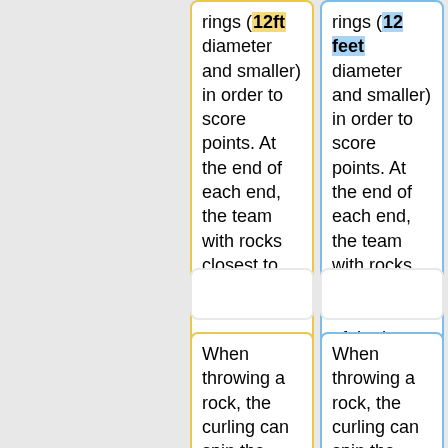rings (12ft diameter and smaller) in order to score points. At the end of each end, the team with rocks closest to the center of the house scores points.
rings (12 feet diameter and smaller) in order to score points. At the end of each end, the team with rocks closest to the center of the house scores points.
When throwing a rock, the curling can spin the rock. This allows the rock to 'curl' its path towards the house, and can allow rocks to travel around other rocks.
When throwing a rock, the curling can spin the rock. This allows the rock to 'curl' its path towards the house and can allow rocks to travel around other rocks.